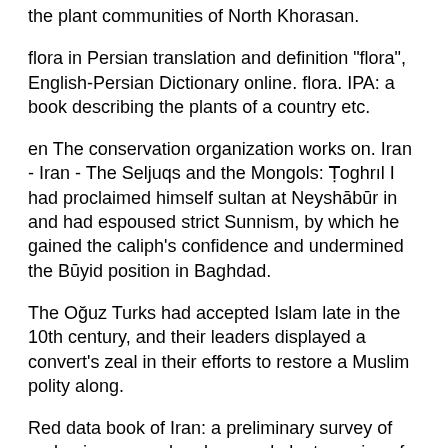the plant communities of North Khorasan.
flora in Persian translation and definition "flora", English-Persian Dictionary online. flora. IPA: a book describing the plants of a country etc.
en The conservation organization works on. Iran - Iran - The Seljuqs and the Mongols: Ṭoghrıl I had proclaimed himself sultan at Neyshābūr in and had espoused strict Sunnism, by which he gained the caliph's confidence and undermined the Būyid position in Baghdad.
The Oğuz Turks had accepted Islam late in the 10th century, and their leaders displayed a convert's zeal in their efforts to restore a Muslim polity along.
Red data book of Iran: a preliminary survey of endemic, rare and endangered plant species of IranCited by: Iran - Iran - The Iranian renaissance: The Sāmānid aura lasted from until it was eclipsed in Its supremacy in northeastern Islam began inwhen the Sāmānid emir, Naṣr I, received the license to govern all of Transoxania.